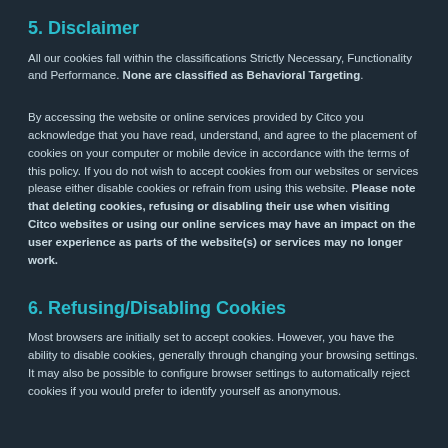5. Disclaimer
All our cookies fall within the classifications Strictly Necessary, Functionality and Performance. None are classified as Behavioral Targeting.
By accessing the website or online services provided by Citco you acknowledge that you have read, understand, and agree to the placement of cookies on your computer or mobile device in accordance with the terms of this policy. If you do not wish to accept cookies from our websites or services please either disable cookies or refrain from using this website. Please note that deleting cookies, refusing or disabling their use when visiting Citco websites or using our online services may have an impact on the user experience as parts of the website(s) or services may no longer work.
6. Refusing/Disabling Cookies
Most browsers are initially set to accept cookies. However, you have the ability to disable cookies, generally through changing your browsing settings. It may also be possible to configure browser settings to automatically reject cookies if you would prefer to identify yourself as anonymous.